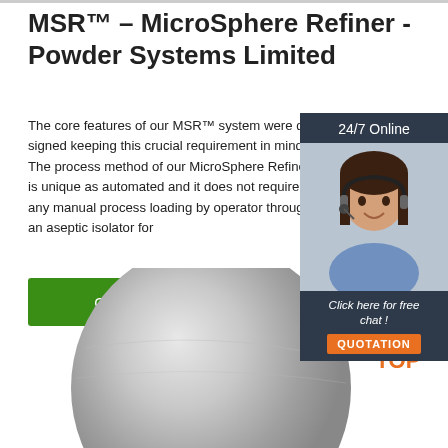MSR™ – MicroSphere Refiner - Powder Systems Limited
The core features of our MSR™ system were designed keeping this crucial requirement in mind. The process method of our MicroSphere Refiner is unique as automated and it does not require any manual p... loading by operator through an aseptic isolator fo...
[Figure (other): 24/7 Online chat widget with female customer service representative wearing headset, and a 'Click here for free chat!' label with QUOTATION button]
[Figure (other): Green 'Get Price' button]
[Figure (photo): Close-up photograph of a grey metallic sphere or pill/powder ball]
[Figure (other): Orange TOP back-to-top icon with dots forming an upward triangle above bold orange text TOP]